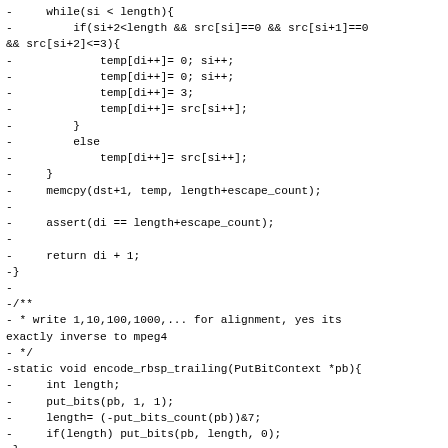-     while(si < length){
-         if(si+2<length && src[si]==0 && src[si+1]==0
&& src[si+2]<=3){
-             temp[di++]= 0; si++;
-             temp[di++]= 0; si++;
-             temp[di++]= 3;
-             temp[di++]= src[si++];
-         }
-         else
-             temp[di++]= src[si++];
-     }
-     memcpy(dst+1, temp, length+escape_count);
-
-     assert(di == length+escape_count);
-
-     return di + 1;
-}
-
-/**
- * write 1,10,100,1000,... for alignment, yes its
exactly inverse to mpeg4
- */
-static void encode_rbsp_trailing(PutBitContext *pb){
-     int length;
-     put_bits(pb, 1, 1);
-     length= (-put_bits_count(pb))&7;
-     if(length) put_bits(pb, length, 0);
-}
-#endif
-